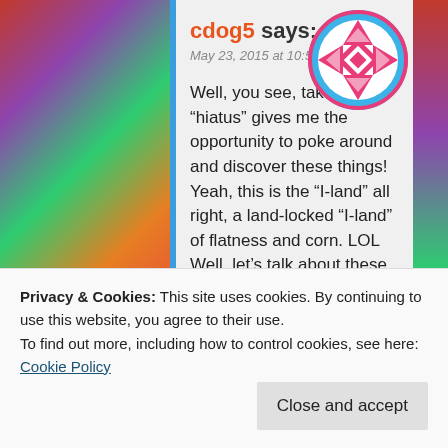[Figure (illustration): Colorful floral/abstract painted background on left side of page]
[Figure (logo): Circular avatar with pink and white quilt/star pattern on blue background]
cdog5 says:
May 23, 2015 at 10:54 pm
Well, you see, taking a “hiatus” gives me the opportunity to poke around and discover these things! Yeah, this is the “I-land” all right, a land-locked “I-land” of flatness and corn. LOL Well, let’s talk about these 9 manuscripts you have — geez, lady, you are sure prolific! Do you ever sleep? 🙂 I know, words just come spooling off your fingertips onto the
Privacy & Cookies: This site uses cookies. By continuing to use this website, you agree to their use.
To find out more, including how to control cookies, see here: Cookie Policy